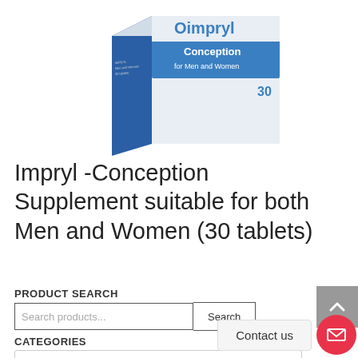[Figure (photo): Impryl Conception supplement box for Men and Women, 30 tablets, partially cropped at top of page]
Impryl -Conception Supplement suitable for both Men and Women (30 tablets)
PRODUCT SEARCH
Search products...
CATEGORIES
Male Fertility Vitamins & Su...
Contact us